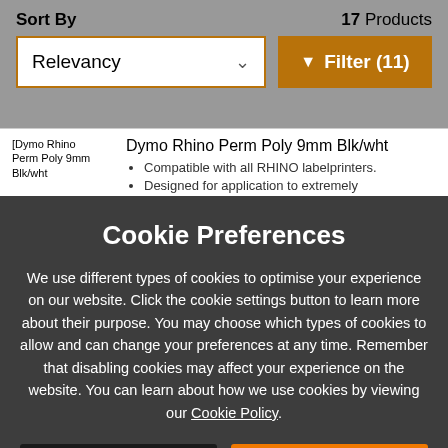Sort By   17 Products
Relevancy   ∨   ▼ Filter (11)
Dymo Rhino Perm Poly 9mm Blk/wht
Compatible with all RHINO labelprinters.
Designed for application to extremely
Cookie Preferences
We use different types of cookies to optimise your experience on our website. Click the cookie settings button to learn more about their purpose. You may choose which types of cookies to allow and can change your preferences at any time. Remember that disabling cookies may affect your experience on the website. You can learn about how we use cookies by viewing our Cookie Policy.
Amend Your Preference
✓ Accept All Cookies